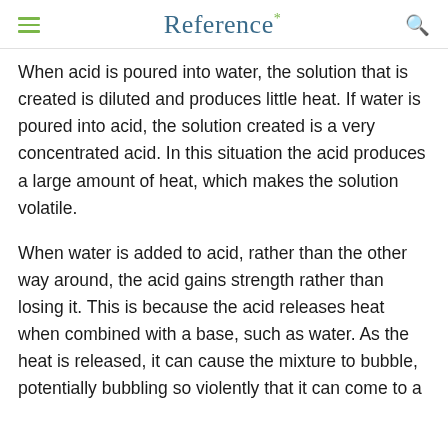Reference*
When acid is poured into water, the solution that is created is diluted and produces little heat. If water is poured into acid, the solution created is a very concentrated acid. In this situation the acid produces a large amount of heat, which makes the solution volatile.
When water is added to acid, rather than the other way around, the acid gains strength rather than losing it. This is because the acid releases heat when combined with a base, such as water. As the heat is released, it can cause the mixture to bubble, potentially bubbling so violently that it can come to a